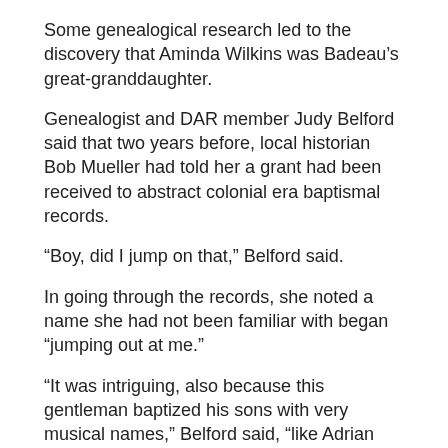Some genealogical research led to the discovery that Aminda Wilkins was Badeau’s great-granddaughter.
Genealogist and DAR member Judy Belford said that two years before, local historian Bob Mueller had told her a grant had been received to abstract colonial era baptismal records.
“Boy, did I jump on that,” Belford said.
In going through the records, she noted a name she had not been familiar with began “jumping out at me.”
“It was intriguing, also because this gentleman baptized his sons with very musical names,” Belford said, “like Adrian Stanislaus, Louis Gonzaga and Israel. It was interesting. As I went on, I noticed that this gentleman started being a godfather to people of color.”
The person she referenced was Michael (or Michel) Badeau, a leading local carpenter.
“When his first wife died and we looked at the burial record, the most powerful men in Ste. Genevieve witnessed it,” Belford said. They also witnessed his second marriage and many were godparents to his children.